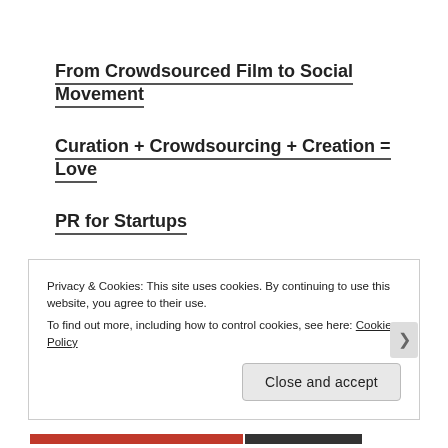From Crowdsourced Film to Social Movement
Curation + Crowdsourcing + Creation = Love
PR for Startups
Three's Not a Crowd for Startup Founding Teams
Distribution or Death: How Publishers Can Survive
Privacy & Cookies: This site uses cookies. By continuing to use this website, you agree to their use. To find out more, including how to control cookies, see here: Cookie Policy